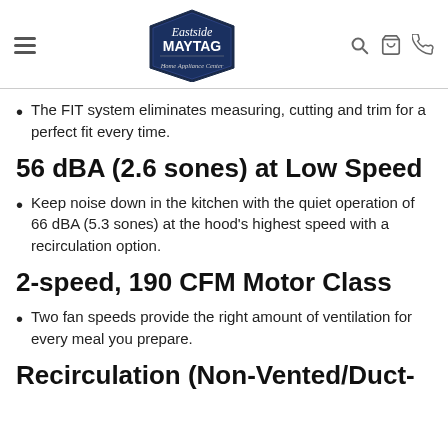Eastside MAYTAG Home Appliance Center
The FIT system eliminates measuring, cutting and trim for a perfect fit every time.
56 dBA (2.6 sones) at Low Speed
Keep noise down in the kitchen with the quiet operation of 66 dBA (5.3 sones) at the hood's highest speed with a recirculation option.
2-speed, 190 CFM Motor Class
Two fan speeds provide the right amount of ventilation for every meal you prepare.
Recirculation (Non-Vented/Duct-